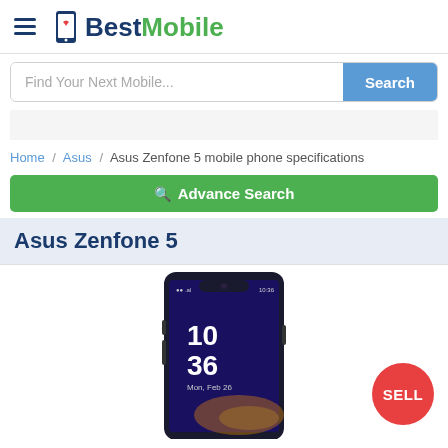BestMobile
Find Your Next Mobile...
Home / Asus / Asus Zenfone 5 mobile phone specifications
Advance Search
Asus Zenfone 5
[Figure (photo): Asus Zenfone 5 smartphone front view showing the display with time 10:36, Mon Feb 26 on a dark/purple background, with a red SELL badge in the bottom right corner]